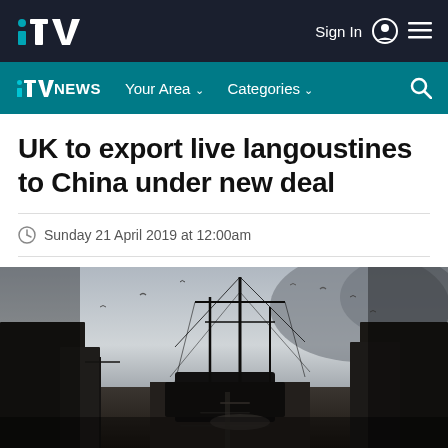ITV — Sign In  ☰
ITV NEWS  Your Area ∨  Categories ∨  🔍
UK to export live langoustines to China under new deal
Sunday 21 April 2019 at 12:00am
[Figure (photo): Dark silhouette of fishing vessels moored at a harbour dock, with rigging visible against a pale grey sky. Seabirds fly in the background.]